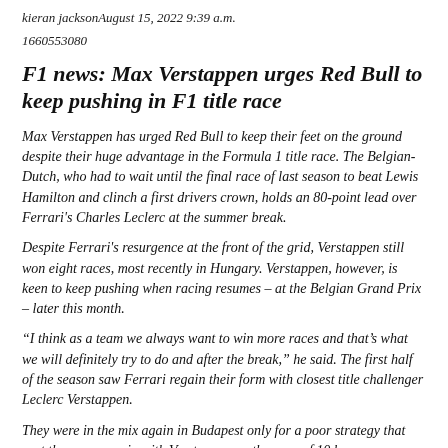kieran jacksonAugust 15, 2022 9:39 a.m.
1660553080
F1 news: Max Verstappen urges Red Bull to keep pushing in F1 title race
Max Verstappen has urged Red Bull to keep their feet on the ground despite their huge advantage in the Formula 1 title race. The Belgian-Dutch, who had to wait until the final race of last season to beat Lewis Hamilton and clinch a first drivers crown, holds an 80-point lead over Ferrari's Charles Leclerc at the summer break.
Despite Ferrari's resurgence at the front of the grid, Verstappen still won eight races, most recently in Hungary. Verstappen, however, is keen to keep pushing when racing resumes – at the Belgian Grand Prix – later this month.
“I think as a team we always want to win more races and that's what we will definitely try to do and after the break,” he said. The first half of the season saw Ferrari regain their form with closest title challenger Leclerc Verstappen.
They were in the mix again in Budapest only for a poor strategy that cost them a race win with Verstappen on the cusp of 10 b...